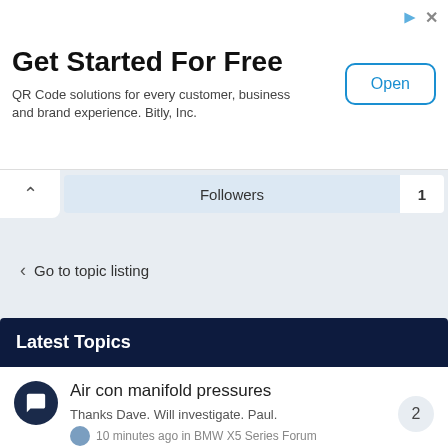[Figure (screenshot): Advertisement banner: Get Started For Free - QR Code solutions for every customer, business and brand experience. Bitly, Inc. with an Open button]
Followers 1
< Go to topic listing
Latest Topics
Air con manifold pressures — Thanks Dave. Will investigate. Paul. — 10 minutes ago in BMW X5 Series Forum — 2 replies
Key Fob Issues — 0 replies